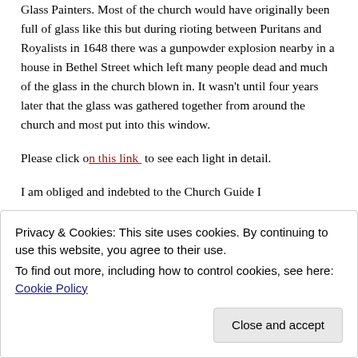Glass Painters.  Most of the church would have originally been full of glass like this but during rioting between Puritans and Royalists in 1648 there was a gunpowder explosion nearby in a house in Bethel Street which left many people dead and much of the glass in the church blown in.  It wasn't until four years later that the glass was gathered together from around the church and most put into this window.
Please click on this link to see each light in detail.
I am obliged and indebted to the Church Guide I
Privacy & Cookies: This site uses cookies. By continuing to use this website, you agree to their use.
To find out more, including how to control cookies, see here: Cookie Policy